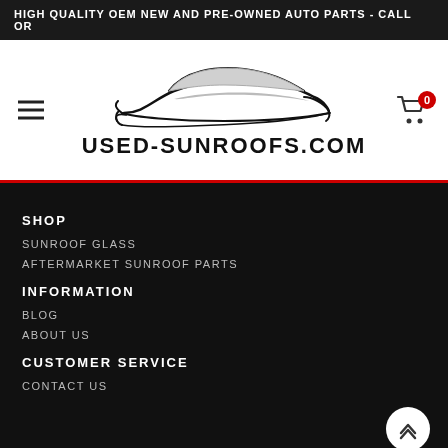HIGH QUALITY OEM NEW AND PRE-OWNED AUTO PARTS - CALL OR
[Figure (logo): Used-Sunroofs.com logo with stylized car silhouette and site name text]
SHOP
SUNROOF GLASS
AFTERMARKET SUNROOF PARTS
INFORMATION
BLOG
ABOUT US
CUSTOMER SERVICE
CONTACT US